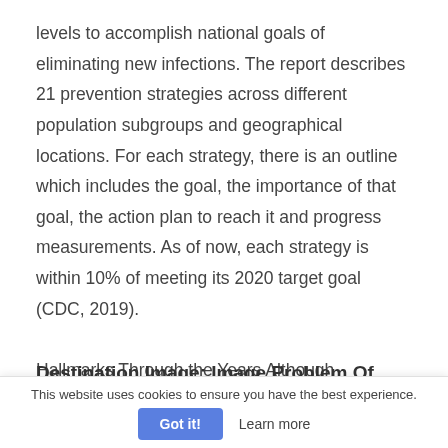levels to accomplish national goals of eliminating new infections. The report describes 21 prevention strategies across different population subgroups and geographical locations. For each strategy, there is an outline which includes the goal, the importance of that goal, the action plan to reach it and progress measurements. As of now, each strategy is within 10% of meeting its 2020 target goal (CDC, 2019).
Hallmarks Through the Years Although
Destination Image: Image Problem Of Turkey As
This website uses cookies to ensure you have the best experience.